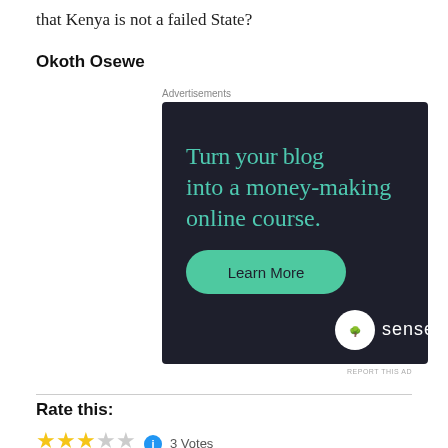that Kenya is not a failed State?
Okoth Osewe
Advertisements
[Figure (infographic): Advertisement for Sensei: dark background with teal text reading 'Turn your blog into a money-making online course.' with a teal 'Learn More' button and Sensei logo at bottom right.]
REPORT THIS AD
Rate this:
3 Votes